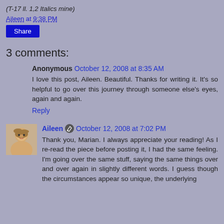(T-17 ll. 1,2 Italics mine)
Aileen at 9:38 PM
Share
3 comments:
Anonymous October 12, 2008 at 8:35 AM
I love this post, Aileen. Beautiful. Thanks for writing it. It's so helpful to go over this journey through someone else's eyes, again and again.
Reply
Aileen October 12, 2008 at 7:02 PM
Thank you, Marian. I always appreciate your reading! As I re-read the piece before posting it, I had the same feeling. I'm going over the same stuff, saying the same things over and over again in slightly different words. I guess though the circumstances appear so unique, the underlying